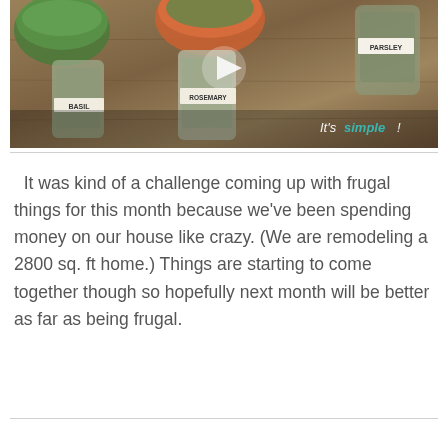[Figure (photo): Video thumbnail showing herb jars and bowls on a wooden cutting board with a play button overlay. Text reads "It's simple!" with 'simple' in teal/green color. Visible herb labels include ROSEMARY, PARSLEY, BASIL.]
It was kind of a challenge coming up with frugal things for this month because we've been spending money on our house like crazy. (We are remodeling a 2800 sq. ft home.) Things are starting to come together though so hopefully next month will be better as far as being frugal.